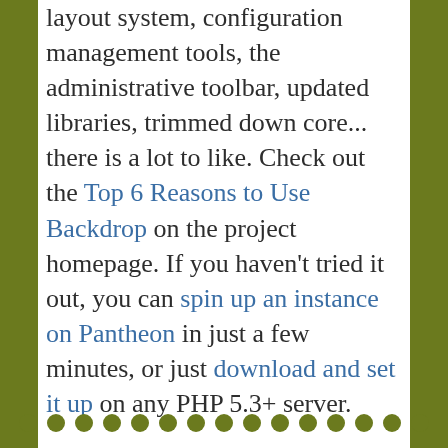layout system, configuration management tools, the administrative toolbar, updated libraries, trimmed down core... there is a lot to like. Check out the Top 6 Reasons to Use Backdrop on the project homepage. If you haven't tried it out, you can spin up an instance on Pantheon in just a few minutes, or just download and set it up on any PHP 5.3+ server.
[Figure (other): A row of 15 olive/dark-green filled circles used as decorative pagination or section dots at the bottom of the page.]